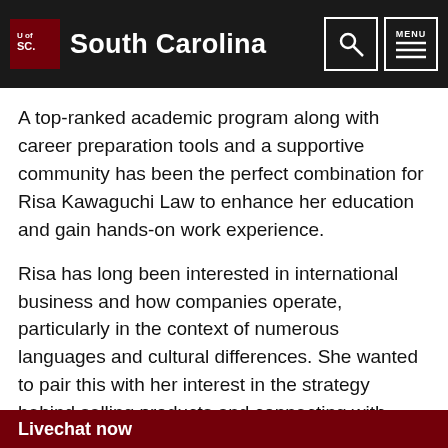University of South Carolina
A top-ranked academic program along with career preparation tools and a supportive community has been the perfect combination for Risa Kawaguchi Law to enhance her education and gain hands-on work experience.
Risa has long been interested in international business and how companies operate, particularly in the context of numerous languages and cultural differences. She wanted to pair this with her interest in the strategy behind selling products and connecting with customers. She sees this intersection of marketing and international business as key to a company's success — and her future career. As a student in the Darla Moore School of Business Risa benefits from
Livechat now